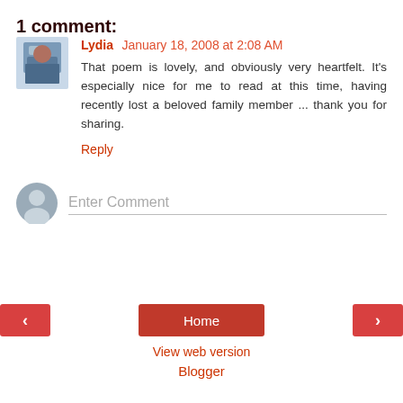1 comment:
Lydia January 18, 2008 at 2:08 AM
That poem is lovely, and obviously very heartfelt. It's especially nice for me to read at this time, having recently lost a beloved family member ... thank you for sharing.
Reply
Enter Comment
Home
View web version
Blogger